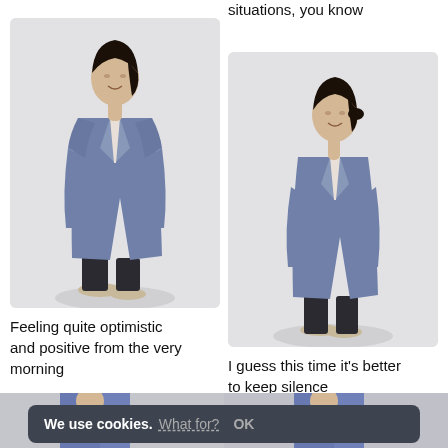situations, you know
[Figure (photo): Person wearing a long blue coat, standing at an angle, barefoot, light gray background]
[Figure (photo): Person wearing a long blue coat, standing facing slightly left, barefoot, light gray background]
Feeling quite optimistic and positive from the very morning
I guess this time it's better to keep silence
[Figure (photo): Two partial photos of people wearing blue suits/coats at the bottom of the page]
We use cookies. What for? OK